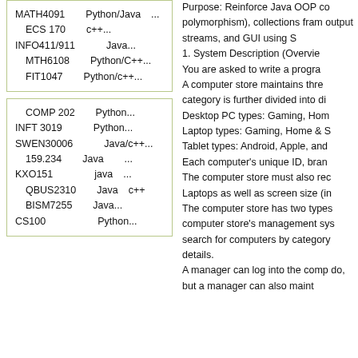MATH4091　　Python/Java　...
ECS 170　　c++...
INFO411/911　　　Java...
MTH6108　　Python/C++...
FIT1047　　Python/c++...
COMP 202　　Python...
INFT 3019　　　Python...
SWEN30006　　　Java/c++...
159.234　　Java　　...
KXO151　　　　java　...
QBUS2310　　Java c++
BISM7255　　Java...
CS100　　　　　Python...
Purpose: Reinforce Java OOP co polymorphism), collections fram output streams, and GUI using S 1. System Description (Overvie You are asked to write a progra A computer store maintains thre category is further divided into d Desktop PC types: Gaming, Ho Laptop types: Gaming, Home & Tablet types: Android, Apple, an Each computer's unique ID, bra The computer store must also re Laptops as well as screen size (i The computer store has two type computer store's management sy search for computers by category details. A manager can log into the com do, but a manager can also main